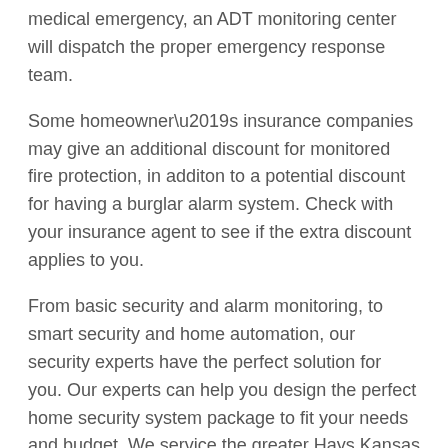medical emergency, an ADT monitoring center will dispatch the proper emergency response team.
Some homeowner’s insurance companies may give an additional discount for monitored fire protection, in additon to a potential discount for having a burglar alarm system. Check with your insurance agent to see if the extra discount applies to you.
From basic security and alarm monitoring, to smart security and home automation, our security experts have the perfect solution for you. Our experts can help you design the perfect home security system package to fit your needs and budget. We service the greater Hays Kansas area.
Home Security Tips:
One of the biggest areas of concern in regards to